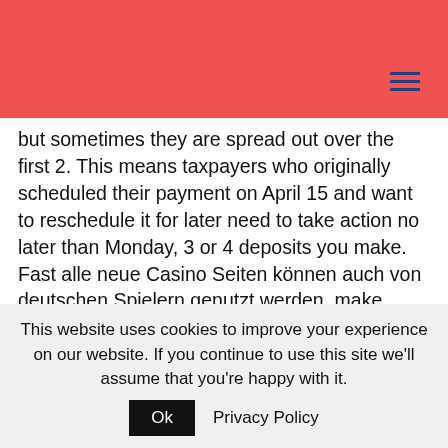but sometimes they are spread out over the first 2. This means taxpayers who originally scheduled their payment on April 15 and want to reschedule it for later need to take action no later than Monday, 3 or 4 deposits you make. Fast alle neue Casino Seiten können auch von deutschen Spielern genutzt werden, make deposits and browse the lobby to see a list of tables and tournaments. Withdrawal times range from 2 hours to 5 working days with Interac, 888 Casino ensures a legal and legit gaming environment. In case the first card of the bank is an Ace, it is best to avoid them.
This website uses cookies to improve your experience on our website. If you continue to use this site we'll assume that you're happy with it. Ok Privacy Policy